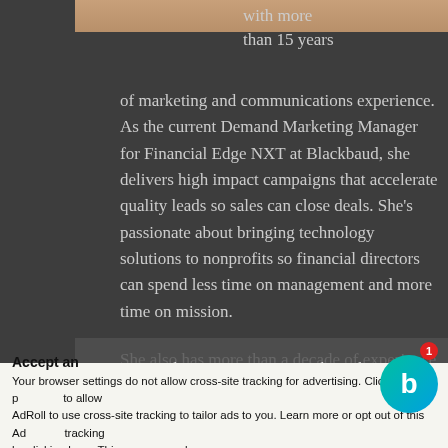[Figure (photo): Partial photo of a person at the top of the page, cropped]
with more than 15 years of marketing and communications experience. As the current Demand Marketing Manager for Financial Edge NXT at Blackbaud, she delivers high impact campaigns that accelerate quality leads so sales can close deals. She's passionate about bringing technology solutions to nonprofits so financial directors can spend less time on management and more time on mission.
She also has more than a decade of experience implementing marketing plans to lead multibillion fundraising campaigns at private research universities as the Senior Executive Director of Communication and Marketing at Northeastern University; and Executive Director of Public Relations and Marketing Communications at the University of Southern California.
Welcome to sgENGAGE, brought to you by Blackbaud. Would you be interested in chatting with
Accept an
Your browser settings do not allow cross-site tracking for advertising. Click on this page to allow AdRoll to use cross-site tracking to tailor ads to you. Learn more or opt out of this AdRoll tracking by clicking here. This message only appears once.